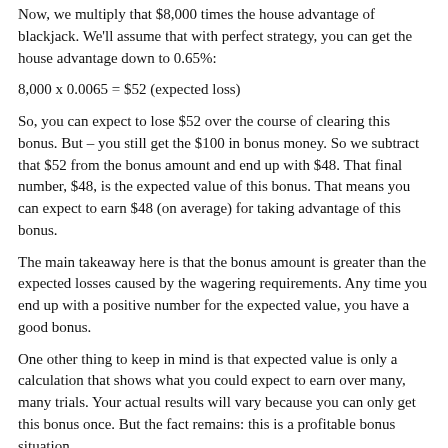Now, we multiply that $8,000 times the house advantage of blackjack. We'll assume that with perfect strategy, you can get the house advantage down to 0.65%:
So, you can expect to lose $52 over the course of clearing this bonus. But – you still get the $100 in bonus money. So we subtract that $52 from the bonus amount and end up with $48. That final number, $48, is the expected value of this bonus. That means you can expect to earn $48 (on average) for taking advantage of this bonus.
The main takeaway here is that the bonus amount is greater than the expected losses caused by the wagering requirements. Any time you end up with a positive number for the expected value, you have a good bonus.
One other thing to keep in mind is that expected value is only a calculation that shows what you could expect to earn over many, many trials. Your actual results will vary because you can only get this bonus once. But the fact remains: this is a profitable bonus situation.